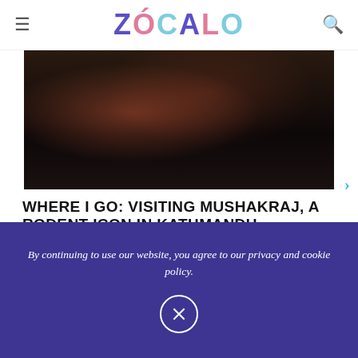ZÓCALO
[Figure (photo): Dark editorial hero image with reddish-brown tones, appearing to show a close-up face or landscape in very low light]
WHERE I GO: VISITING MUSHAKRAJ, A RODENT ICON IN KATHMANDU
A Gilt-Metal Rat Carries the Powers of the God, and the Weight of Tragedy and Centuries
by ED DOUGLAS | APRIL 15, 2021
The city seemed like a mushroom, a cement mycelium inserting itself into new corners of the valley.
By continuing to use our website, you agree to our privacy and cookie policy.